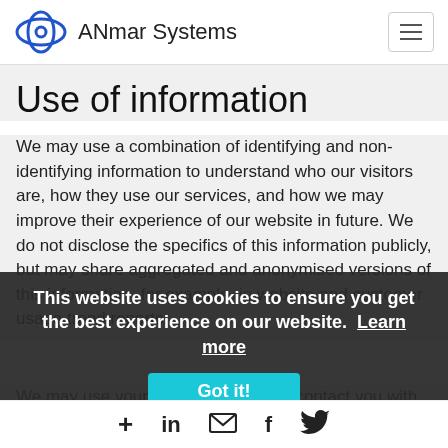ANmar Systems
Use of information
We may use a combination of identifying and non-identifying information to understand who our visitors are, how they use our services, and how we may improve their experience of our website in future. We do not disclose the specifics of this information publicly, but may share aggregated and anonymised versions of this information, for example, in website and customer usage trend reports.
This website uses cookies to ensure you get the best experience on our website. Learn more
We may use your personal details to contact you with updates about our website and services, along with promotional content that we believe may be of interest to you. If you wish t